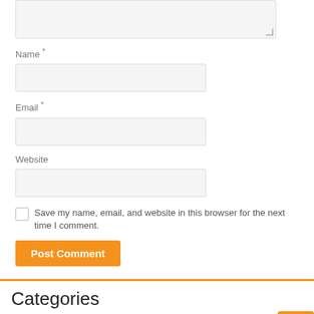[Figure (screenshot): Textarea input box (grayed background, resize handle at bottom-right)]
Name *
[Figure (screenshot): Name text input field (grayed background)]
Email *
[Figure (screenshot): Email text input field (grayed background)]
Website
[Figure (screenshot): Website text input field (grayed background)]
Save my name, email, and website in this browser for the next time I comment.
[Figure (screenshot): Post Comment orange button]
Categories
Accounts
Balanced Trade